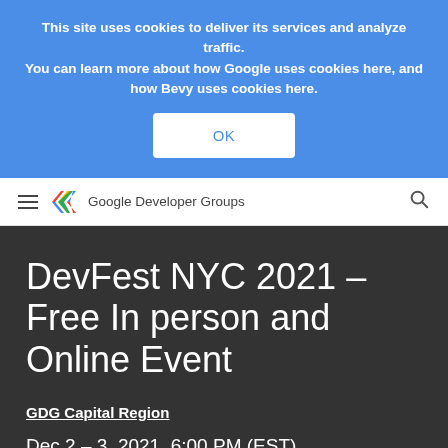This site uses cookies to deliver its services and analyze traffic. You can learn more about how Google uses cookies here, and how Bevy uses cookies here.
OK
Google Developer Groups
DevFest NYC 2021 – Free In person and Online Event
GDG Capital Region
Dec 2 – 3, 2021, 6:00 PM (EST)